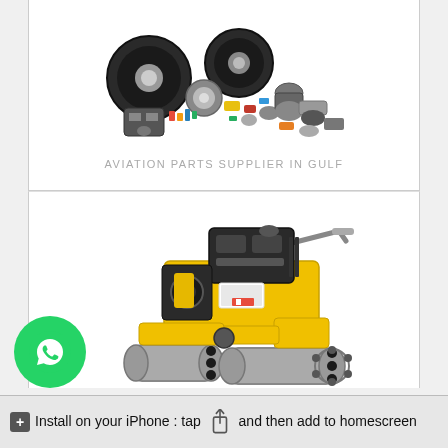[Figure (photo): Collection of aviation parts including wheels, tires, motors, and various mechanical components on white background]
AVIATION PARTS SUPPLIER IN GULF
[Figure (photo): Yellow and black roller compactor machine with dual steel drums and engine on top]
Install on your iPhone : tap [share icon] and then add to homescreen